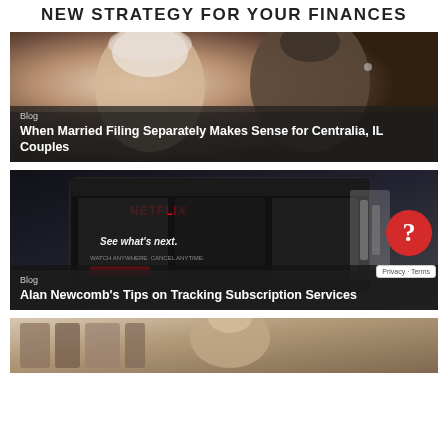NEW STRATEGY FOR YOUR FINANCES
[Figure (photo): Wedding photo showing bride and groom face-to-face with blog overlay text 'Blog' and title 'When Married Filing Separately Makes Sense for Centralia, IL Couples']
[Figure (photo): Netflix screen/laptop with blog overlay text 'Blog' and title 'Alan Newcomb’s Tips on Tracking Subscription Services']
[Figure (photo): Partial photo of person, bottom card, partially visible]